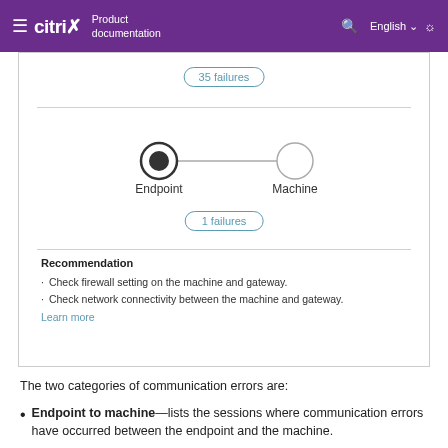Citrix Product documentation  English
[Figure (screenshot): Citrix product documentation screenshot showing a network diagram with Endpoint and Machine nodes connected by a line. Shows '35 failures' pill at top and '1 failures' pill below. Recommendation section with bullet points: 'Check firewall setting on the machine and gateway.' and 'Check network connectivity between the machine and gateway.' with a Learn more link.]
The two categories of communication errors are:
Endpoint to machine—lists the sessions where communication errors have occurred between the endpoint and the machine.